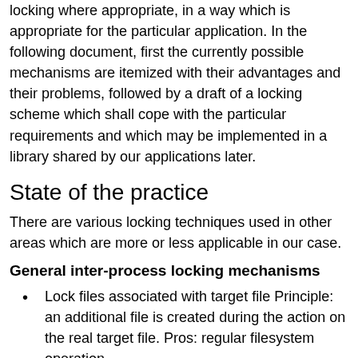locking where appropriate, in a way which is appropriate for the particular application. In the following document, first the currently possible mechanisms are itemized with their advantages and their problems, followed by a draft of a locking scheme which shall cope with the particular requirements and which may be implemented in a library shared by our applications later.
State of the practice
There are various locking techniques used in other areas which are more or less applicable in our case.
General inter-process locking mechanisms
Lock files associated with target file Principle: an additional file is created during the action on the real target file. Pros: regular filesystem operation,